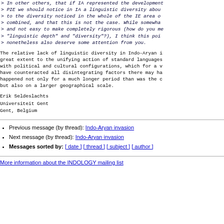> In other others, that if IA represented the development...
> PIE we should notice in IA a linguistic diversity abou...
> to the diversity noticed in the whole of the IE area o...
> combined, and that this is not the case. While somewha...
> and not easy to make completely rigorous (how do you m...
> "linguistic depth" and "diversity"?), I think this poi...
> nonetheless also deserve some attention from you.
The relative lack of linguistic diversity in Indo-Aryan i... great extent to the unifying action of standard languages... with political and cultural configurations, which for a v... have counteracted all disintegrating factors there may ha... happened not only for a much longer period than was the c... but also on a larger geographical scale.
Erik Seldeslachts
Universiteit Gent
Gent, Belgium
Previous message (by thread): Indo-Aryan invasion
Next message (by thread): Indo-Aryan invasion
Messages sorted by: [ date ] [ thread ] [ subject ] [ author ]
More information about the INDOLOGY mailing list